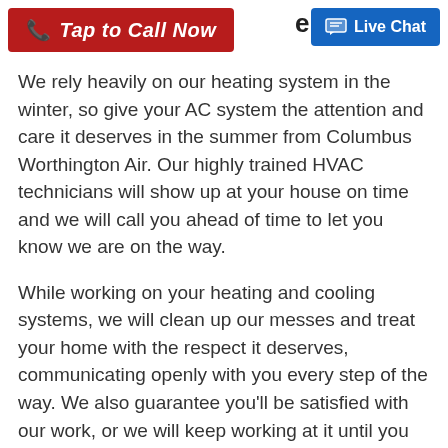[Figure (screenshot): Red 'Tap to Call Now' button with phone icon on left, and blue 'Live Chat' button with chat icon on right. Partial heading text visible: 'em?' in dark text.]
We rely heavily on our heating system in the winter, so give your AC system the attention and care it deserves in the summer from Columbus Worthington Air. Our highly trained HVAC technicians will show up at your house on time and we will call you ahead of time to let you know we are on the way.
While working on your heating and cooling systems, we will clean up our messes and treat your home with the respect it deserves, communicating openly with you every step of the way. We also guarantee you’ll be satisfied with our work, or we will keep working at it until you are.
More benefits of working with us include:
Emergency AC repair services available